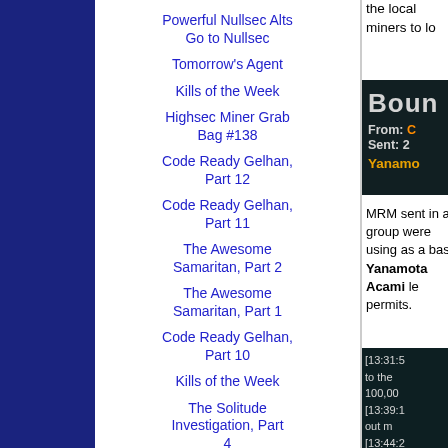Powerful Nullsec Alts Go to Nullsec
Tomorrow's Agent
Kills of the Week
Highsec Miner Grab Bag #138
Code Ready Gelhan, Part 12
Code Ready Gelhan, Part 11
The Awesome Samaritan, Part 2
The Awesome Samaritan, Part 1
Code Ready Gelhan, Part 10
Kills of the Week
The Solitude Investigation, Part 4
the local miners to lo
[Figure (screenshot): Dark-themed in-game message screenshot showing 'Boun' header, From: C, Sent: 2, and Yanamo name in orange]
MRM sent in a group were using as a bas Yanamota Acami le permits.
[Figure (screenshot): Dark-themed in-game chat log showing timestamps [13:31:5, [13:39:1, [13:44:2 with messages about 100,00 and 'out m' and 'Altun' in orange]